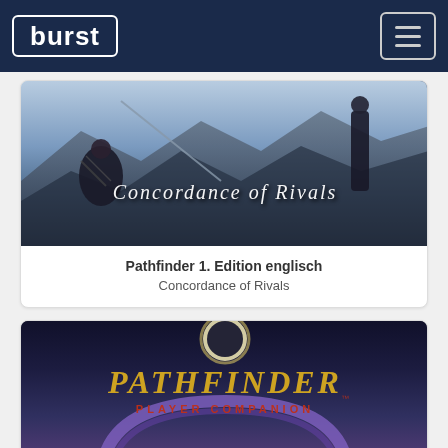burst (navigation bar with hamburger menu)
[Figure (illustration): Book cover art for 'Concordance of Rivals' showing fantasy characters with weapons in a dark blue mountainous scene]
Pathfinder 1. Edition englisch
Concordance of Rivals
[Figure (illustration): Pathfinder Player Companion logo/cover art with golden stylized text on dark background with purple portal arch]